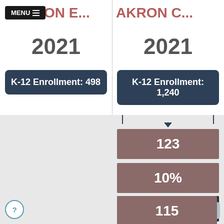AKRON E...
2021
K-12 Enrollment: 498
AKRON C...
2021
K-12 Enrollment: 1,240
123
10%
11TH GRADE
115